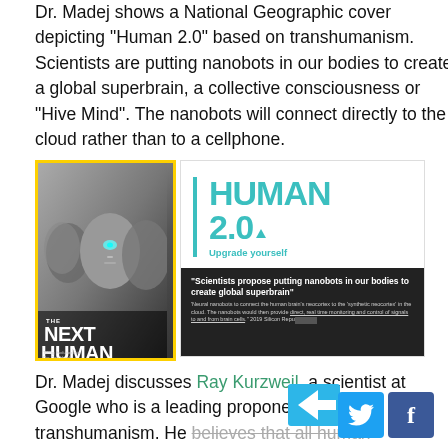Dr. Madej shows a National Geographic cover depicting “Human 2.0” based on transhumanism. Scientists are putting nanobots in our bodies to create a global superbrain, a collective consciousness or “Hive Mind”. The nanobots will connect directly to the cloud rather than to a cellphone.
[Figure (photo): Left: National Geographic magazine cover showing robotic/human face with text 'THE NEXT HUMAN'. Right: An advertisement panel with teal text 'HUMAN 2.0 Upgrade yourself' and a dark section quoting 'Scientists propose putting nanobots in our bodies to create global superbrain' from 2019 Silicon Republic.]
Dr. Madej discusses Ray Kurzweil, a scientist at Google who is a leading proponent of transhumanism. He believes that all human beings should be merged...